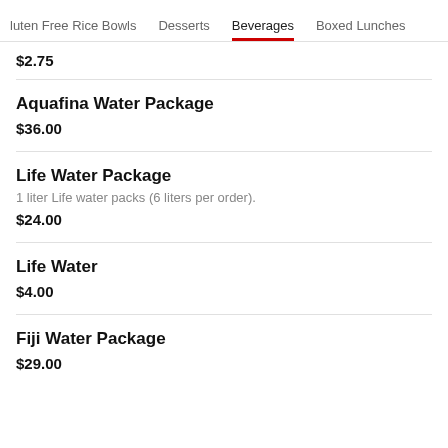luten Free Rice Bowls   Desserts   Beverages   Boxed Lunches
$2.75
Aquafina Water Package
$36.00
Life Water Package
1 liter Life water packs (6 liters per order).
$24.00
Life Water
$4.00
Fiji Water Package
$29.00